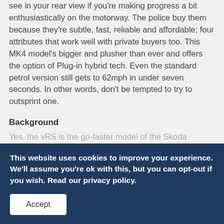see in your rear view if you're making progress a bit enthusiastically on the motorway. The police buy them because they're subtle, fast, reliable and affordable; four attributes that work well with private buyers too. This MK4 model's bigger and plusher than ever and offers the option of Plug-in hybrid tech. Even the standard petrol version still gets to 62mph in under seven seconds. In other words, don't be tempted to try to outsprint one.
Background
Yes, the vRS is the go-faster model of the Skoda Octavia range, launched at a time when going faster seems to be about as socially acceptable as a Gary Glitter comeback tour, but stick with it. There is a lot more to this car than...
This website uses cookies to improve your experience. We'll assume you're ok with this, but you can opt-out if you wish. Read our privacy policy.
Accept